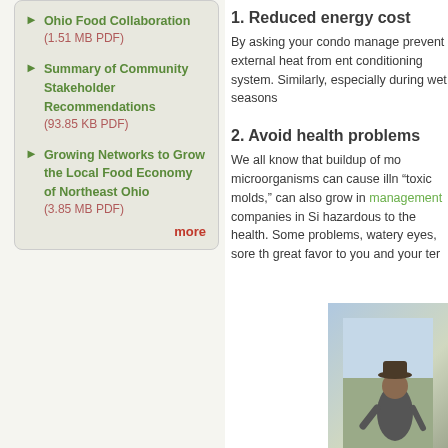Ohio Food Collaboration (1.51 MB PDF)
Summary of Community Stakeholder Recommendations (93.85 KB PDF)
Growing Networks to Grow the Local Food Economy of Northeast Ohio (3.85 MB PDF)
more
1. Reduced energy cost
By asking your condo manage prevent external heat from ent conditioning system. Similarly, especially during wet seasons
2. Avoid health problems
We all know that buildup of mo microorganisms can cause illn “toxic molds,” can also grow in management companies in Si hazardous to the health. Some problems, watery eyes, sore th great favor to you and your ter
[Figure (photo): Person in a hat, outdoor background]